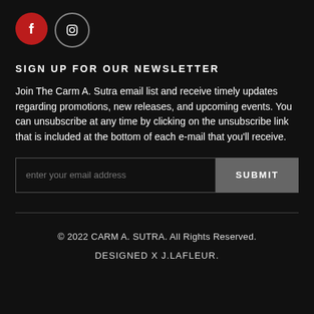[Figure (illustration): Two circular social media icons: Facebook (red circle with 'f') and Instagram (dark circle with camera/Instagram logo outline)]
SIGN UP FOR OUR NEWSLETTER
Join The Carm A. Sutra email list and receive timely updates regarding promotions, new releases, and upcoming events. You can unsubscribe at any time by clicking on the unsubscribe link that is included at the bottom of each e-mail that you'll receive.
enter your email address | SUBMIT
© 2022 CARM A. SUTRA. All Rights Reserved.
DESIGNED X J.LAFLEUR.